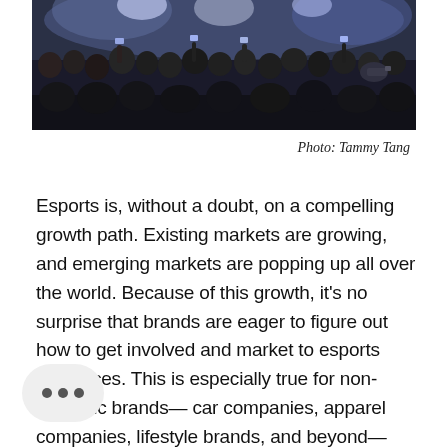[Figure (photo): Crowd of esports event attendees, viewed from behind, many holding up phones and cameras, with bright stage lighting in background]
Photo: Tammy Tang
Esports is, without a doubt, on a compelling growth path. Existing markets are growing, and emerging markets are popping up all over the world. Because of this growth, it's no surprise that brands are eager to figure out how to get involved and market to esports audiences. This is especially true for non-endemic brands— car companies, apparel companies, lifestyle brands, and beyond—who have only [engaged] with esports in a limited way to date.